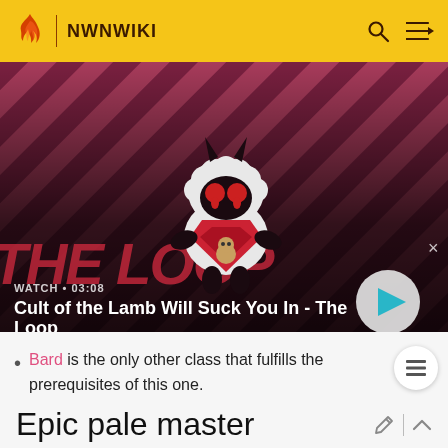NWNWIKI
[Figure (screenshot): Video thumbnail for 'Cult of the Lamb Will Suck You In - The Loop' showing an animated lamb creature on a red diagonal striped background, with WATCH • 03:08 label and play button]
Bard is the only other class that fulfills the prerequisites of this one.
Epic pale master